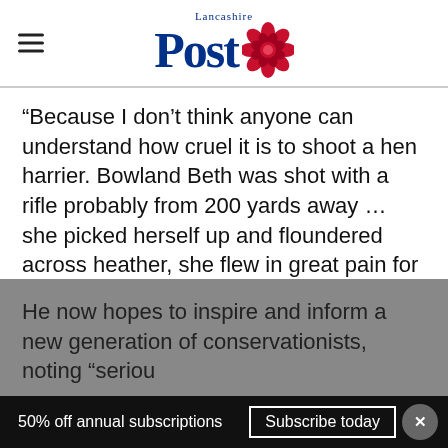Lancashire Post
“Because I don’t think anyone can understand how cruel it is to shoot a hen harrier. Bowland Beth was shot with a rifle probably from 200 yards away … she picked herself up and floundered across heather, she flew in great pain for another four or five miles before crashing down in heather. I want to get this across.”
He now hopes to inspire and inform a new generation of conservationists, noting “serio…
50% off annual subscriptions   Subscribe today